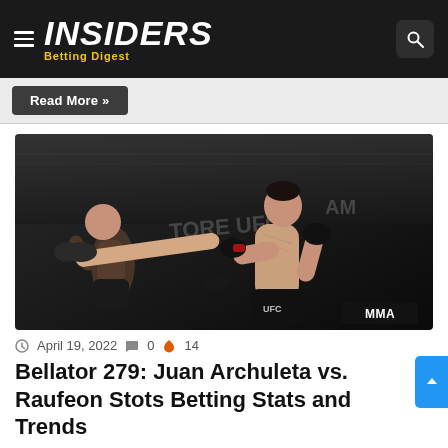INSIDERS Betting Digest
Read More »
[Figure (photo): Two MMA fighters in a UFC octagon; right fighter delivering a high kick to the left fighter's head. MMA badge overlay in bottom right.]
April 19, 2022  0  14
Bellator 279: Juan Archuleta vs. Raufeon Stots Betting Stats and Trends